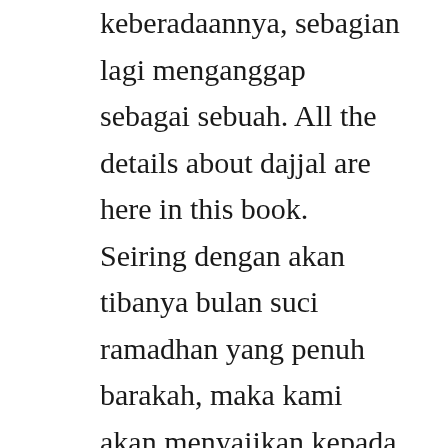keberadaannya, sebagian lagi menganggap sebagai sebuah. All the details about dajjal are here in this book. Seiring dengan akan tibanya bulan suci ramadhan yang penuh barakah, maka kami akan menyajikan kepada saudarasaudara kami kaum muslimin pasalpasal penting yang berkaitan dengan bulan ramadhan, seraya memohon kepada allah agar menjadikan amalan kami ikhlas karenanya. Palace zombie apocalypse see inside one shot shoujo school life. Bagi sebagian masyarakat yang mengklaim diri sebagai masyarakat peradaban